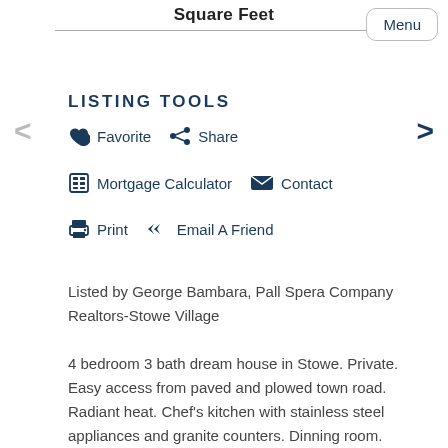Square Feet
LISTING TOOLS
Favorite  Share
Mortgage Calculator  Contact
Print  Email A Friend
Listed by George Bambara, Pall Spera Company Realtors-Stowe Village
4 bedroom 3 bath dream house in Stowe. Private. Easy access from paved and plowed town road. Radiant heat. Chef’s kitchen with stainless steel appliances and granite counters. Dinning room. Pantry. Private double office. Master suite on main floor with a true double shower, separate oversized